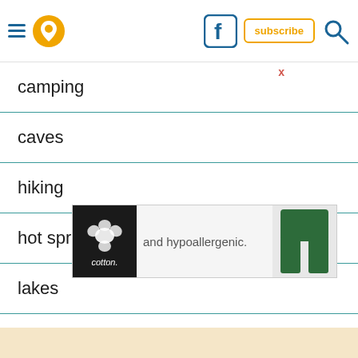Navigation header with hamburger menu, location pin icon, Facebook icon, subscribe button, search icon
camping
caves
hiking
hot springs
lakes
state parks
swimming holes
waterfalls
[Figure (photo): Cotton brand advertisement showing 'and hypoallergenic.' text with green pants image and cotton logo]